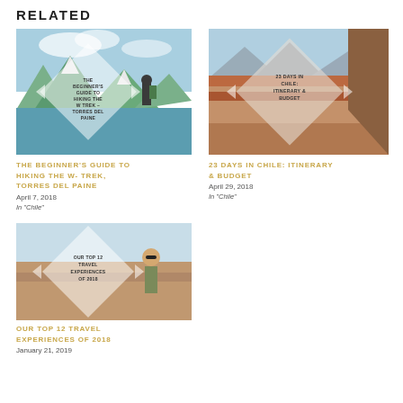RELATED
[Figure (photo): A hiker with a backpack against mountains with a diamond-shaped text overlay reading: THE BEGINNER'S GUIDE TO HIKING THE W TREK – TORRES DEL PAINE]
[Figure (photo): A desert canyon landscape with a diamond-shaped text overlay reading: 23 DAYS IN CHILE: ITINERARY & BUDGET]
THE BEGINNER'S GUIDE TO HIKING THE W- TREK, TORRES DEL PAINE
April 7, 2018
In "Chile"
23 DAYS IN CHILE: ITINERARY & BUDGET
April 29, 2018
In "Chile"
[Figure (photo): A woman in sunglasses in a desert landscape with a diamond-shaped text overlay reading: OUR TOP 12 TRAVEL EXPERIENCES OF 2018]
OUR TOP 12 TRAVEL EXPERIENCES OF 2018
January 21, 2019